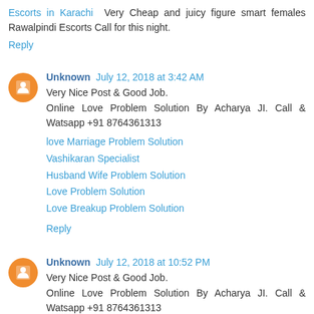Escorts in Karachi  Very Cheap and juicy figure smart females Rawalpindi Escorts Call for this night.
Reply
Unknown  July 12, 2018 at 3:42 AM
Very Nice Post & Good Job.
Online Love Problem Solution By Acharya JI. Call & Watsapp +91 8764361313
love Marriage Problem Solution
Vashikaran Specialist
Husband Wife Problem Solution
Love Problem Solution
Love Breakup Problem Solution
Reply
Unknown  July 12, 2018 at 10:52 PM
Very Nice Post & Good Job.
Online Love Problem Solution By Acharya JI. Call & Watsapp +91 8764361313